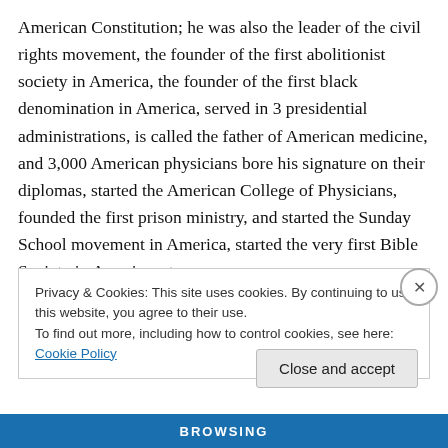American Constitution; he was also the leader of the civil rights movement, the founder of the first abolitionist society in America, the founder of the first black denomination in America, served in 3 presidential administrations, is called the father of American medicine, and 3,000 American physicians bore his signature on their diplomas, started the American College of Physicians, founded the first prison ministry, and started the Sunday School movement in America, started the very first Bible Society in America, etc.
Privacy & Cookies: This site uses cookies. By continuing to use this website, you agree to their use. To find out more, including how to control cookies, see here: Cookie Policy
Close and accept